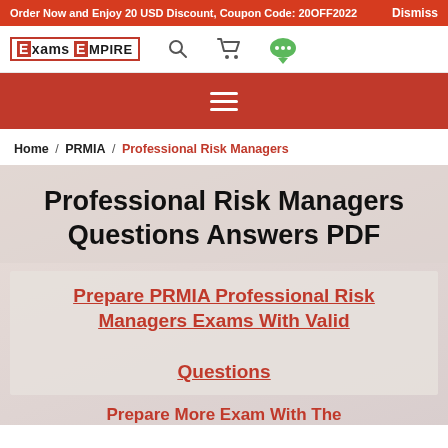Order Now and Enjoy 20 USD Discount, Coupon Code: 20OFF2022   Dismiss
[Figure (logo): ExamsEmpire logo with red E box and search, cart, chat icons]
[Figure (infographic): Red menu bar with white hamburger menu icon]
Home / PRMIA / Professional Risk Managers
Professional Risk Managers Questions Answers PDF
Prepare PRMIA Professional Risk Managers Exams With Valid Questions
Prepare More Exam With The